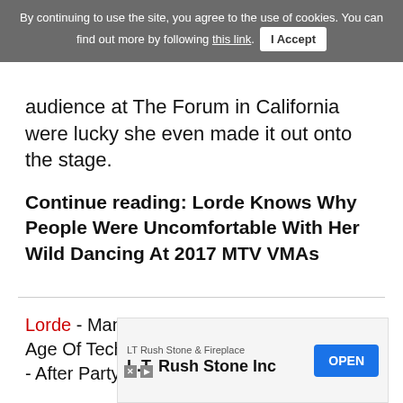By continuing to use the site, you agree to the use of cookies. You can find out more by following this link. I Accept
audience at The Forum in California were lucky she even made it out onto the stage.
Continue reading: Lorde Knows Why People Were Uncomfortable With Her Wild Dancing At 2017 MTV VMAs
Lorde - Manus x Machina: Fashion In An Age Of Technology' Costume Institute Gala - After Party - New York... rd May 2...
[Figure (other): Advertisement banner for LT Rush Stone & Fireplace / L.T. Rush Stone Inc with OPEN button]